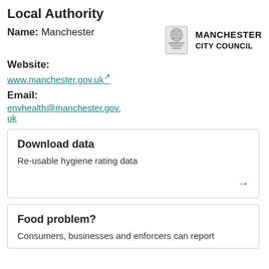Local Authority
Name: Manchester
Website:
www.manchester.gov.uk
Email:
envhealth@manchester.gov.uk
[Figure (logo): Manchester City Council coat of arms logo with text MANCHESTER CITY COUNCIL]
Download data
Re-usable hygiene rating data
Food problem?
Consumers, businesses and enforcers can report